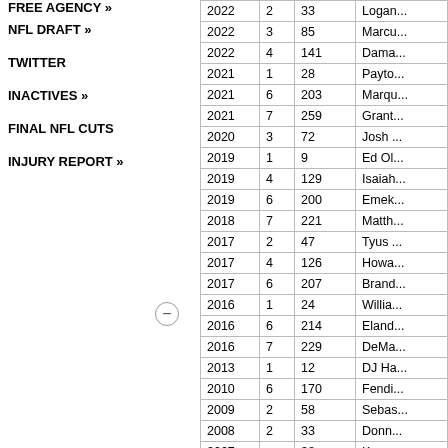FREE AGENCY »
NFL DRAFT »
TWITTER
INACTIVES »
FINAL NFL CUTS
INJURY REPORT »
| Year | Rd | Pick | Player |
| --- | --- | --- | --- |
| 2022 | 2 | 33 | Logan... |
| 2022 | 3 | 85 | Marcus... |
| 2022 | 4 | 141 | Dama... |
| 2021 | 1 | 28 | Payto... |
| 2021 | 6 | 203 | Marqu... |
| 2021 | 7 | 259 | Grant... |
| 2020 | 3 | 72 | Josh ... |
| 2019 | 1 | 9 | Ed Ol... |
| 2019 | 4 | 129 | Isaiah... |
| 2019 | 6 | 200 | Emek... |
| 2018 | 7 | 221 | Matth... |
| 2017 | 2 | 47 | Tyus ... |
| 2017 | 4 | 126 | Howa... |
| 2017 | 6 | 207 | Brand... |
| 2016 | 1 | 24 | Willia... |
| 2016 | 6 | 214 | Eland... |
| 2016 | 7 | 229 | DeMa... |
| 2013 | 1 | 12 | DJ Ha... |
| 2010 | 6 | 170 | Fendi... |
| 2009 | 2 | 58 | Sebas... |
| 2008 | 2 | 33 | Donn... |
| 2007 | ... | 38 | K... |